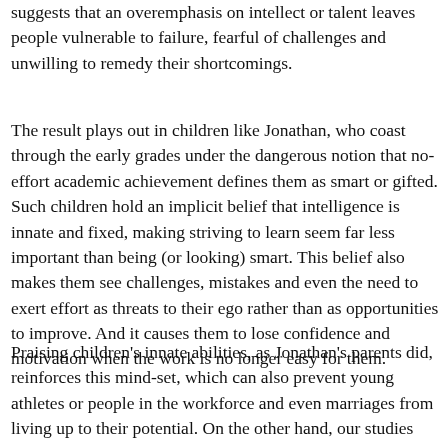suggests that an overemphasis on intellect or talent leaves people vulnerable to failure, fearful of challenges and unwilling to remedy their shortcomings.
The result plays out in children like Jonathan, who coast through the early grades under the dangerous notion that no-effort academic achievement defines them as smart or gifted. Such children hold an implicit belief that intelligence is innate and fixed, making striving to learn seem far less important than being (or looking) smart. This belief also makes them see challenges, mistakes and even the need to exert effort as threats to their ego rather than as opportunities to improve. And it causes them to lose confidence and motivation when the work is no longer easy for them.
Praising children's innate abilities, as Jonathan's parents did, reinforces this mind-set, which can also prevent young athletes or people in the workforce and even marriages from living up to their potential. On the other hand, our studies show that teaching people to have a "growth mind-set," which encourages a focus on "processes" (consisting of personal effort